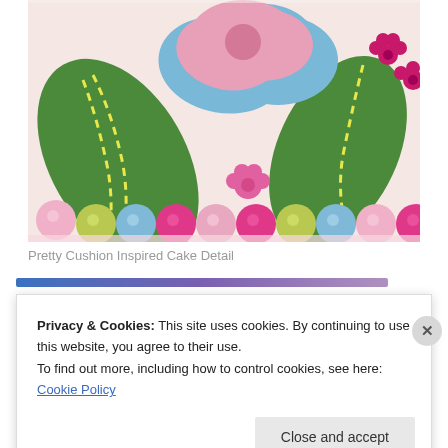[Figure (photo): Close-up photo of a decorated fondant cake showing colorful ball decorations along the base (pink, blue, hot pink, yellow-green) and fondant decorations on top including green leaves with yellow stitching, blue and pink layered flowers, a small pink flower, and hot pink flowers on the right edge. The cake has a pale pink/cream base.]
Pretty Cushion Inspired Cake Detail
Privacy & Cookies: This site uses cookies. By continuing to use this website, you agree to their use.
To find out more, including how to control cookies, see here: Cookie Policy
Close and accept